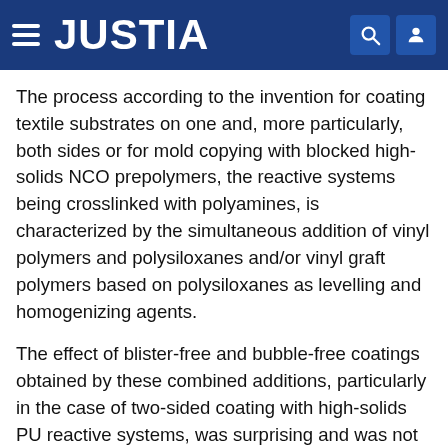JUSTIA
The process according to the invention for coating textile substrates on one and, more particularly, both sides or for mold copying with blocked high-solids NCO prepolymers, the reactive systems being crosslinked with polyamines, is characterized by the simultaneous addition of vinyl polymers and polysiloxanes and/or vinyl graft polymers based on polysiloxanes as levelling and homogenizing agents.
The effect of blister-free and bubble-free coatings obtained by these combined additions, particularly in the case of two-sided coating with high-solids PU reactive systems, was surprising and was not suggested by any previous experience or by any disclosures in the literature. The favorable levelling behavior of the high-solids PU reactive systems is also of advantage in the coating of molds, for example for the production of